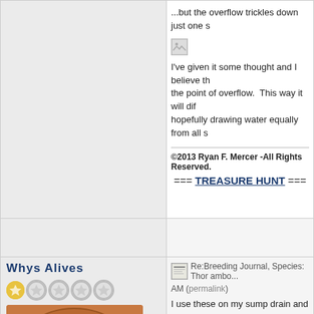...but the overflow trickles down just one s
[Figure (photo): Small broken/placeholder image icon]
I've given it some thought and I believe th... the point of overflow. This way it will dif... hopefully drawing water equally from all s
©2013 Ryan F. Mercer -All Rights Reserved.
=== TREASURE HUNT ===
Whys Alives
[Figure (photo): User avatar stars/rating icons — one gold star and four grey outline stars]
[Figure (photo): Coin image showing E PLURIBUS UNUM United States penny]
Re:Breeding Journal, Species: Thor ambo... AM (permalink)
I use these on my sump drain and bought a... doesn't wick and it diffuses water flow rea
100 Micron Filter Sock:
[Figure (photo): Small broken/placeholder image icon]
I've wrapped a small strip around the outsi